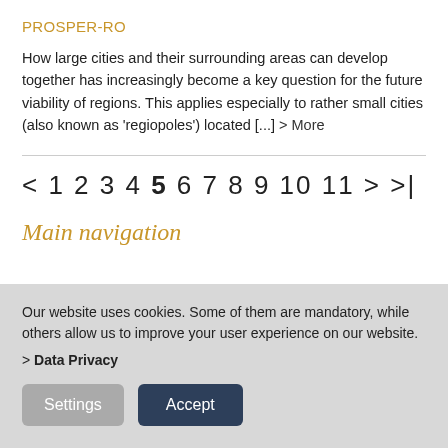PROSPER-RO
How large cities and their surrounding areas can develop together has increasingly become a key question for the future viability of regions. This applies especially to rather small cities (also known as ‘regiopoles’) located [...] > More
< 1 2 3 4 5 6 7 8 9 10 11 > >|
Main navigation
Our website uses cookies. Some of them are mandatory, while others allow us to improve your user experience on our website. > Data Privacy
Settings
Accept